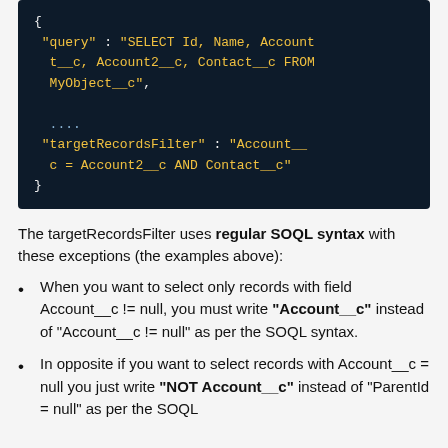[Figure (screenshot): Code block on dark background showing JSON with query and targetRecordsFilter fields]
The targetRecordsFilter uses regular SOQL syntax with these exceptions (the examples above):
When you want to select only records with field Account__c != null, you must write "Account__c" instead of "Account__c != null" as per the SOQL syntax.
In opposite if you want to select records with Account__c = null you just write "NOT Account__c" instead of "ParentId = null" as per the SOQL